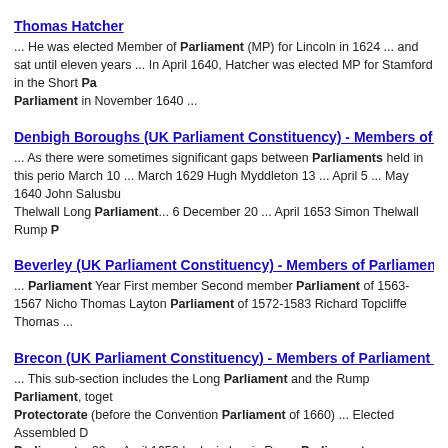Thomas Hatcher
... He was elected Member of Parliament (MP) for Lincoln in 1624 ... and sat until eleven years ... In April 1640, Hatcher was elected MP for Stamford in the Short Parliament in November 1640 ...
Denbigh Boroughs (UK Parliament Constituency) - Members of Parliament - M...
... As there were sometimes significant gaps between Parliaments held in this period March 10 ... March 1629 Hugh Myddleton 13 ... April 5 ... May 1640 John Salusbur Thelwall Long Parliament... 6 December 20 ... April 1653 Simon Thelwall Rump P...
Beverley (UK Parliament Constituency) - Members of Parliament - Beverley B...
... Parliament Year First member Second member Parliament of 1563-1567 Nicho Thomas Layton Parliament of 1572-1583 Richard Topcliffe Thomas ...
Brecon (UK Parliament Constituency) - Members of Parliament - Members of...
... This sub-section includes the Long Parliament and the Rump Parliament, togeth Protectorate (before the Convention Parliament of 1660) ... Elected Assembled D Parliament... 20 ... April 1653 Ludovic Lewis Rump Parliament.. ...